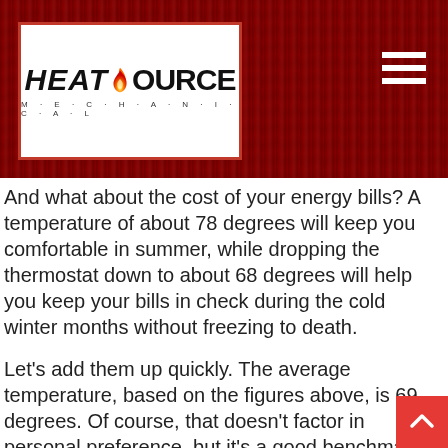[Figure (logo): HeatSource Mechanical logo in white box with red border on dark red wood-grain background, with hamburger menu icon top right]
And what about the cost of your energy bills? A temperature of about 78 degrees will keep you comfortable in summer, while dropping the thermostat down to about 68 degrees will help you keep your bills in check during the cold winter months without freezing to death.
Let's add them up quickly. The average temperature, based on the figures above, is 69 degrees. Of course, that doesn't factor in personal preference, but it's a good benchmark.
How to Achieve the Ideal Home Temperature